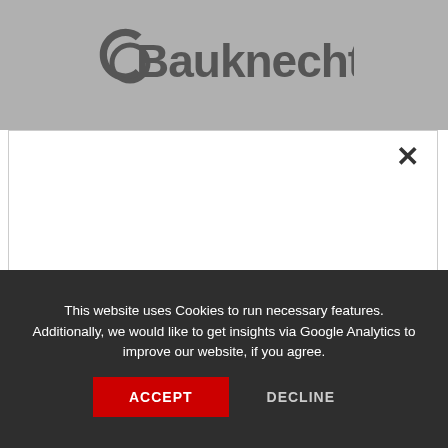[Figure (logo): Bauknecht brand logo in grey tones on grey header background]
×
WE'VE MOVED
YOU WILL FIND US AT THE FOLLOWING ADDRESS:
This website uses Cookies to run necessary features. Additionally, we would like to get insights via Google Analytics to improve our website, if you agree.
ACCEPT  DECLINE